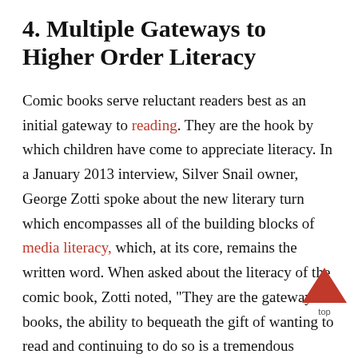4. Multiple Gateways to Higher Order Literacy
Comic books serve reluctant readers best as an initial gateway to reading. They are the hook by which children have come to appreciate literacy. In a January 2013 interview, Silver Snail owner, George Zotti spoke about the new literary turn which encompasses all of the building blocks of media literacy, which, at its core, remains the written word. When asked about the literacy of the comic book, Zotti noted, "They are the gateway to books, the ability to bequeath the gift of wanting to read and continuing to do so is a tremendous present; comics are just as good as any novel." Comic books provide further gateways up the literacy continuum with graphic novels like Kill Shakespeare that introduce more complex